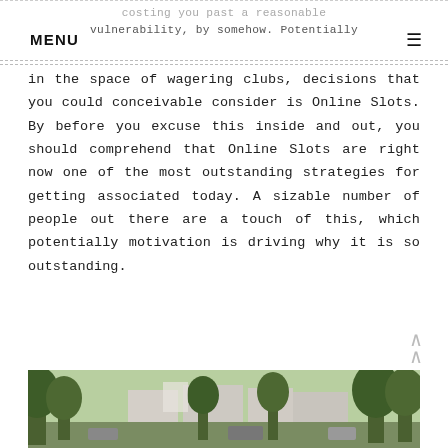costing you past a reasonable vulnerability, by somehow. Potentially in the space of wagering clubs,
decisions that you could conceivable consider is Online Slots. By before you excuse this inside and out, you should comprehend that Online Slots are right now one of the most outstanding strategies for getting associated today. A sizable number of people out there are a touch of this, which potentially motivation is driving why it is so outstanding.
[Figure (photo): Outdoor scene with trees and buildings in the background, appears to be a park or street area with green foliage.]